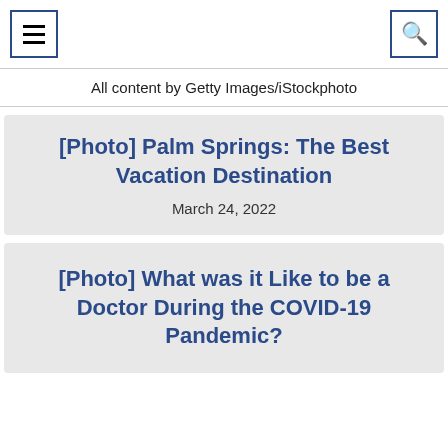[hamburger menu icon] [search icon]
All content by Getty Images/iStockphoto
[Photo] Palm Springs: The Best Vacation Destination
March 24, 2022
[Photo] What was it Like to be a Doctor During the COVID-19 Pandemic?